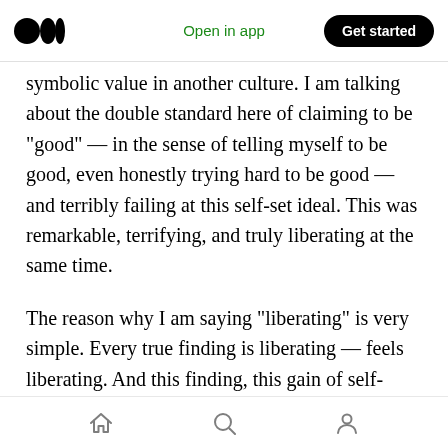Medium logo | Open in app | Get started
symbolic value in another culture. I am talking about the double standard here of claiming to be “good” — in the sense of telling myself to be good, even honestly trying hard to be good — and terribly failing at this self-set ideal. This was remarkable, terrifying, and truly liberating at the same time.
The reason why I am saying “liberating” is very simple. Every true finding is liberating — feels liberating. And this finding, this gain of self-knowledge, in line with what the author says about bonsai care, was made possible by this very
Home | Search | Profile